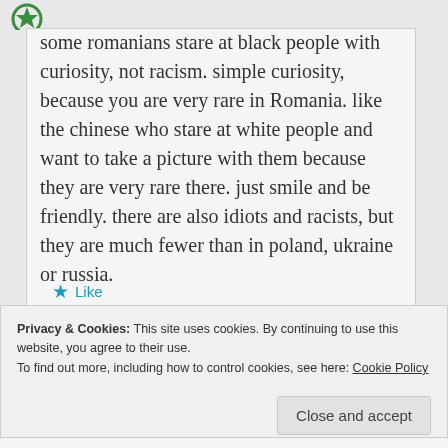[Figure (logo): Partial green circular logo/icon at top left]
some romanians stare at black people with curiosity, not racism. simple curiosity, because you are very rare in Romania. like the chinese who stare at white people and want to take a picture with them because they are very rare there. just smile and be friendly. there are also idiots and racists, but they are much fewer than in poland, ukraine or russia.
★ Like
Privacy & Cookies: This site uses cookies. By continuing to use this website, you agree to their use.
To find out more, including how to control cookies, see here: Cookie Policy
Close and accept